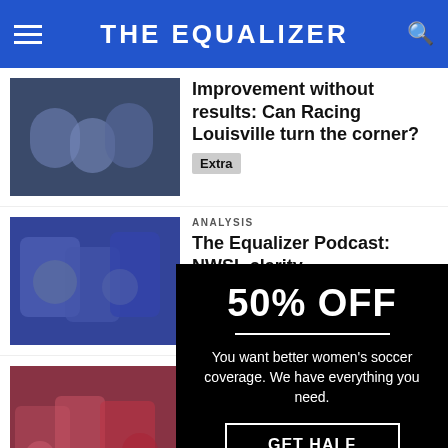THE EQUALIZER
Improvement without results: Can Racing Louisville turn the corner?
Extra
ANALYSIS
The Equalizer Podcast: NWSL clarity
Extra
AN
H
N
E
ARCHIVES
SELECT MONTH
[Figure (infographic): Promotional overlay on black background showing 50% OFF discount offer for The Equalizer subscription. Text reads: You want better women's soccer coverage. We have everything you need. Button: GET HALF OFF]